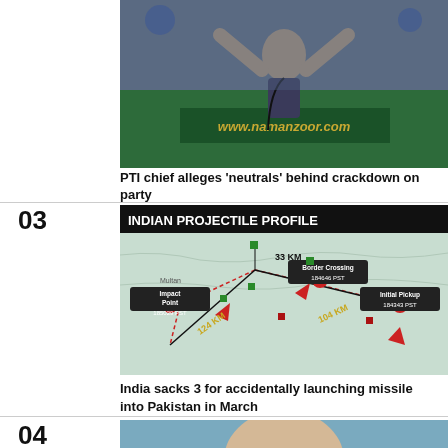[Figure (photo): Person speaking at a podium with website www.namanzoor.com visible on the front, raising hands]
PTI chief alleges ‘neutrals’ behind crackdown on party
03
[Figure (infographic): Indian Projectile Profile map showing missile trajectory with three points: Initial Pickup 184343 PST, Border Crossing 184646 PST, Impact Point 185029 PST. Distances: 33 KM, 124 KM, 104 KM.]
India sacks 3 for accidentally launching missile into Pakistan in March
04
[Figure (photo): Partial photo of a person at the bottom of the page]